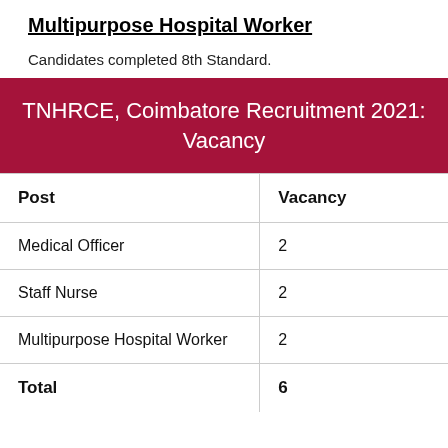Multipurpose Hospital Worker
Candidates completed 8th Standard.
TNHRCE, Coimbatore Recruitment 2021: Vacancy
| Post | Vacancy |
| --- | --- |
| Medical Officer | 2 |
| Staff Nurse | 2 |
| Multipurpose Hospital Worker | 2 |
| Total | 6 |